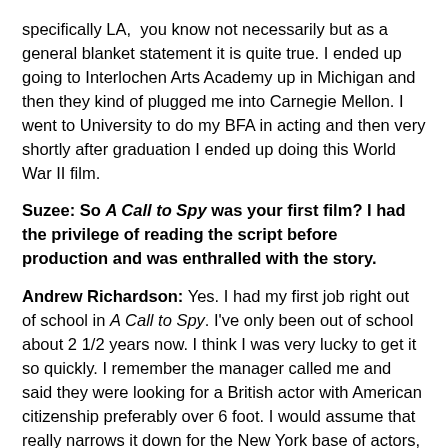specifically LA,  you know not necessarily but as a general blanket statement it is quite true. I ended up going to Interlochen Arts Academy up in Michigan and then they kind of plugged me into Carnegie Mellon. I went to University to do my BFA in acting and then very shortly after graduation I ended up doing this World War II film.
Suzee: So A Call to Spy was your first film? I had the privilege of reading the script before production and was enthralled with the story.
Andrew Richardson: Yes. I had my first job right out of school in A Call to Spy. I've only been out of school about 2 1/2 years now. I think I was very lucky to get it so quickly. I remember the manager called me and said they were looking for a British actor with American citizenship preferably over 6 foot. I would assume that really narrows it down for the New York base of actors, just a guess.
It was a really fun audition. You know some are really difficult but this was really easy because as you said yourself the script was really excellent. It was original and creative.